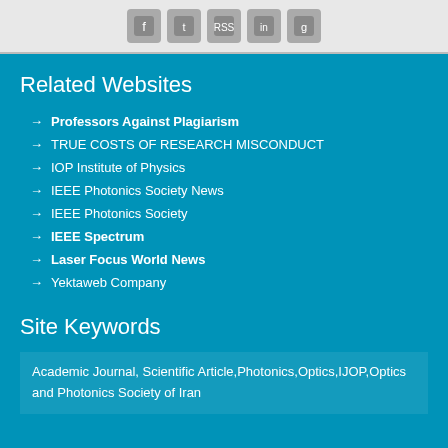[Figure (other): Social media icons (Facebook, Twitter, RSS, LinkedIn, Google+) on white bar at top]
Related Websites
Professors Against Plagiarism
TRUE COSTS OF RESEARCH MISCONDUCT
IOP Institute of Physics
IEEE Photonics Society News
IEEE Photonics Society
IEEE Spectrum
Laser Focus World News
Yektaweb Company
Site Keywords
Academic Journal, Scientific Article,Photonics,Optics,IJOP,Optics and Photonics Society of Iran